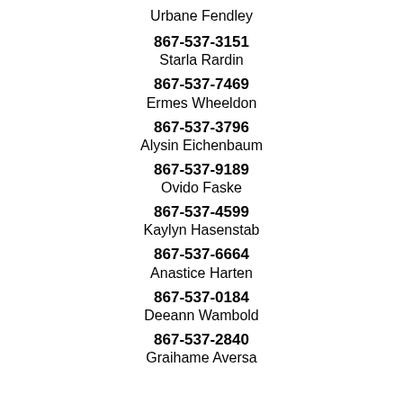Urbane Fendley
867-537-3151
Starla Rardin
867-537-7469
Ermes Wheeldon
867-537-3796
Alysin Eichenbaum
867-537-9189
Ovido Faske
867-537-4599
Kaylyn Hasenstab
867-537-6664
Anastice Harten
867-537-0184
Deeann Wambold
867-537-2840
Graihame Aversa